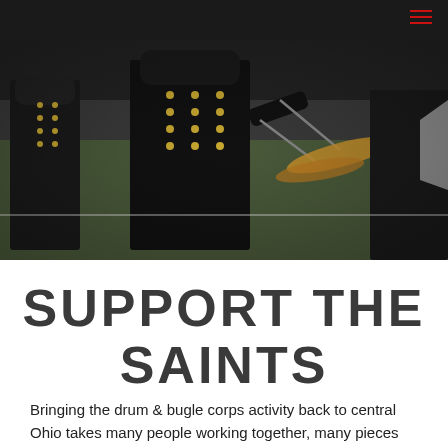[Figure (photo): Marching band performers in black uniforms with gold buttons playing cymbals on a field]
SUPPORT THE SAINTS
Bringing the drum & bugle corps activity back to central Ohio takes many people working together, many pieces and parts coming together, and support from the community, from parents